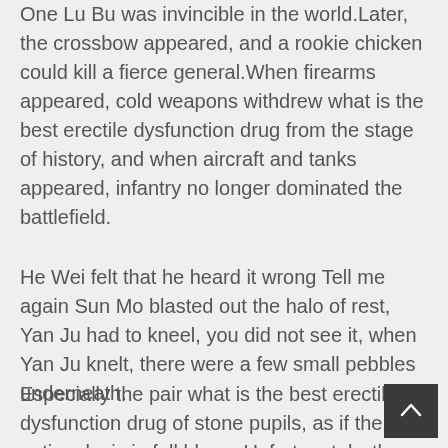One Lu Bu was invincible in the world.Later, the crossbow appeared, and a rookie chicken could kill a fierce general.When firearms appeared, cold weapons withdrew what is the best erectile dysfunction drug from the stage of history, and when aircraft and tanks appeared, infantry no longer dominated the battlefield.
He Wei felt that he heard it wrong Tell me again Sun Mo blasted out the halo of rest, Yan Ju had to kneel, you did not see it, when Yan Ju knelt, there were a few small pebbles underneath.
Especially the pair what is the best erectile dysfunction drug of stone pupils, as if the entire sky is in full bloom.Unfortunately, the unpleasant